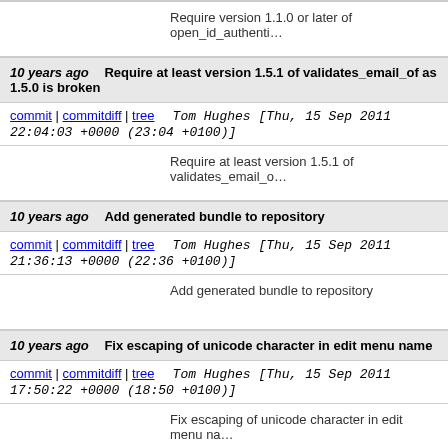Require version 1.1.0 or later of open_id_authenti...
10 years ago   Require at least version 1.5.1 of validates_email_of as 1.5.0 is broken
commit | commitdiff | tree   Tom Hughes [Thu, 15 Sep 2011 22:04:03 +0000 (23:04 +0100)]
Require at least version 1.5.1 of validates_email_o...
10 years ago   Add generated bundle to repository
commit | commitdiff | tree   Tom Hughes [Thu, 15 Sep 2011 21:36:13 +0000 (22:36 +0100)]
Add generated bundle to repository
10 years ago   Fix escaping of unicode character in edit menu name
commit | commitdiff | tree   Tom Hughes [Thu, 15 Sep 2011 17:50:22 +0000 (18:50 +0100)]
Fix escaping of unicode character in edit menu na...
10 years ago   Update to rails 3.0.10 and composite_primary_key 3.1.10